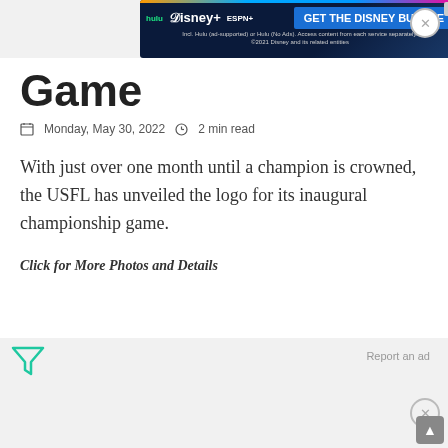[Figure (screenshot): Disney Bundle advertisement banner at top: hulu, Disney+, ESPN+ logos with 'GET THE DISNEY BUNDLE' CTA button. Includes fine print about Hulu ad-supported or No Ads plan and ©2021 Disney.]
Game
Monday, May 30, 2022   2 min read
With just over one month until a champion is crowned, the USFL has unveiled the logo for its inaugural championship game.
Click for More Photos and Details
[Figure (screenshot): Disney Bundle advertisement banner at bottom: hulu, Disney+, ESPN+ logos with 'GET THE DISNEY BUNDLE' CTA button. Includes fine print and ©2021 Disney.]
Report an ad